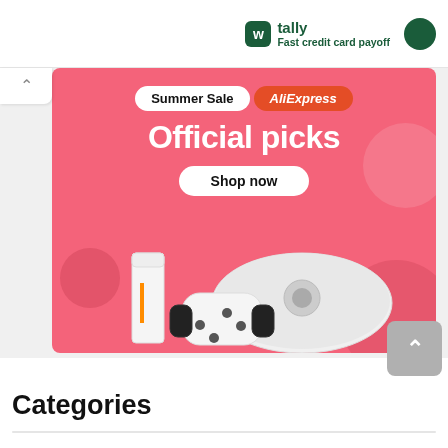tally Fast credit card payoff
[Figure (illustration): AliExpress Summer Sale banner ad with pink background, showing 'Summer Sale AliExpress Official picks Shop now' text and product images including robot vacuum, game console, and gaming controller]
Categories